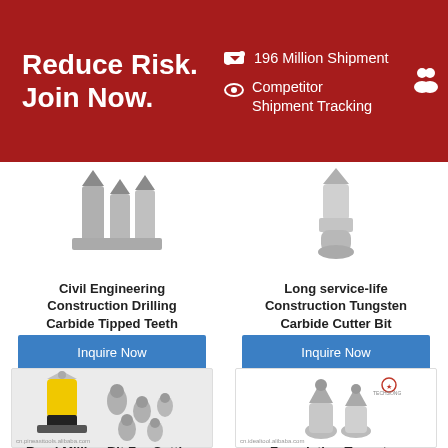Reduce Risk. Join Now.
196 Million Shipment
Competitor Shipment Tracking
[Figure (photo): Civil Engineering Construction Drilling Carbide Tipped Teeth product image]
Civil Engineering Construction Drilling Carbide Tipped Teeth
Inquire Now
[Figure (photo): Long service-life Construction Tungsten Carbide Cutter Bit product image]
Long service-life Construction Tungsten Carbide Cutter Bit
Inquire Now
[Figure (photo): Road Milling Bit For Cutting product image showing yellow and black road milling bit with carbide tips]
Road Milling Bit For Cutting
[Figure (photo): Foundation Tungsten product image showing two carbide cutter bits]
Foundation Tungsten